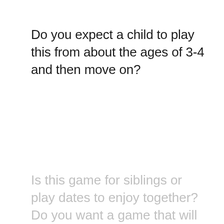Do you expect a child to play this from about the ages of 3-4 and then move on?
Is this game for siblings or play dates to enjoy together? Do you want a game that will